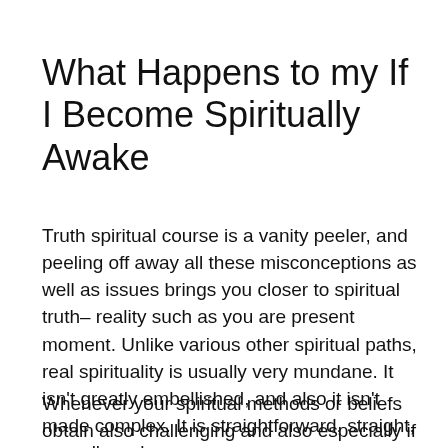What Happens to my If I Become Spiritually Awake
Truth spiritual course is a vanity peeler, and peeling off away all these misconceptions as well as issues brings you closer to spiritual truth– reality such as you are present moment. Unlike various other spiritual paths, real spirituality is usually very mundane. It isn't greatly embellished, and also it isn't made complex. It is straightforward, straight, as well as clear.
Whenever your spiritual methods or beliefs obtain also challenging and also especially if